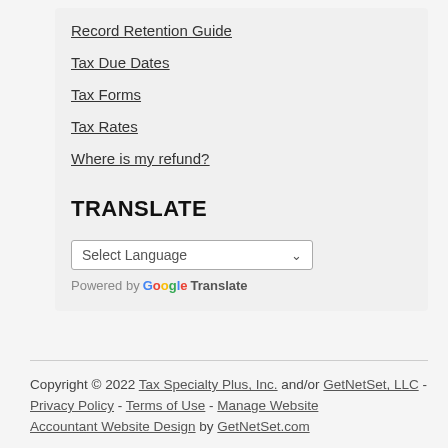Record Retention Guide
Tax Due Dates
Tax Forms
Tax Rates
Where is my refund?
TRANSLATE
Select Language (dropdown) — Powered by Google Translate
Copyright © 2022 Tax Specialty Plus, Inc. and/or GetNetSet, LLC - Privacy Policy - Terms of Use - Manage Website Accountant Website Design by GetNetSet.com